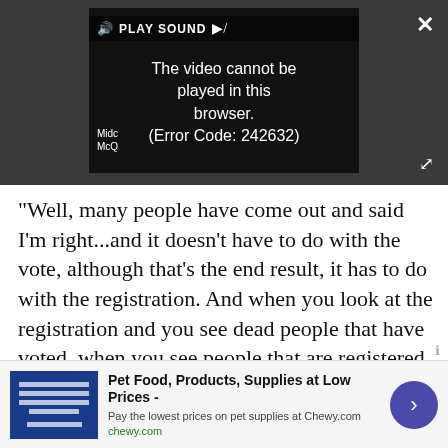[Figure (screenshot): Video player showing error message 'The video cannot be played in this browser. (Error Code: 242632)' with PLAY SOUND bar at top, dark background with partial image visible on right side. Close (X) button top right, fullscreen icon bottom right.]
"Well, many people have come out and said I'm right...and it doesn't have to do with the vote, although that's the end result, it has to do with the registration. And when you look at the registration and you see dead people that have voted, when you see people that are registered in two states that voted in two states. When you see other things... when you see illegals, people that are not
[Figure (screenshot): Advertisement banner for Chewy.com: 'Pet Food, Products, Supplies at Low Prices - Pay the lowest prices on pet supplies at Chewy.com' with blue product image on left, close X button, and purple arrow button on right.]